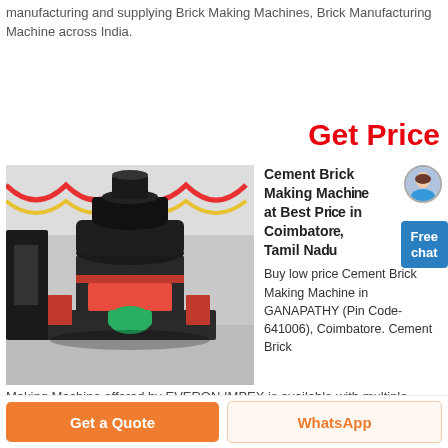manufacturing and supplying Brick Making Machines, Brick Manufacturing Machine across India.
Get Price
[Figure (photo): Large industrial cement brick making machine (vertical mill/grinder) in a factory warehouse setting with red and yellow bunting decorations in the background.]
Cement Brick Making Machine at Best Price in Coimbatore, Tamil Nadu
Buy low price Cement Brick Making Machine in GANAPATHY (Pin Code-641006), Coimbatore. Cement Brick Making Machine offered by EVERON IMPEX is available with multiple payment
Making Machine offered by EVERON IMPEX is available with multiple payment